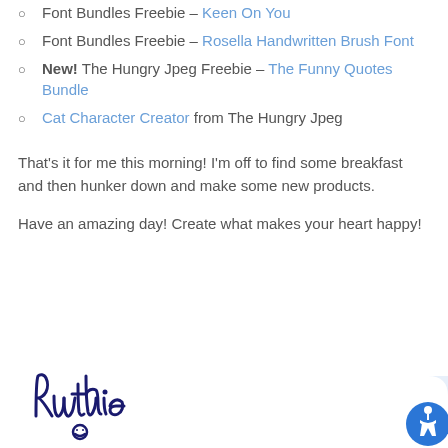Font Bundles Freebie – Keen On You
Font Bundles Freebie – Rosella Handwritten Brush Font
New! The Hungry Jpeg Freebie – The Funny Quotes Bundle
Cat Character Creator from The Hungry Jpeg
That's it for me this morning! I'm off to find some breakfast and then hunker down and make some new products.
Have an amazing day! Create what makes your heart happy!
[Figure (illustration): Handwritten cursive signature reading 'Ruthie' with a small smiley face below, in dark navy/purple ink]